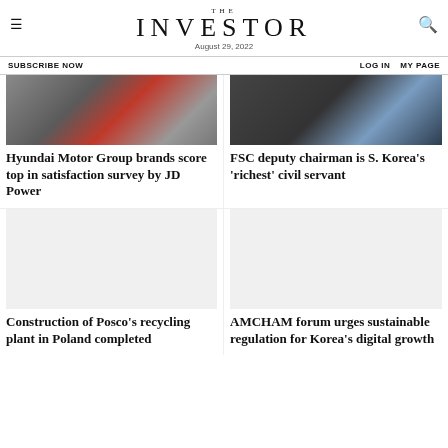THE INVESTOR — August 29, 2022
SUBSCRIBE NOW  LOG IN  MY PAGE
[Figure (photo): Photo of Hyundai vehicle on road]
Hyundai Motor Group brands score top in satisfaction survey by JD Power
[Figure (photo): Photo of FSC deputy chairman at an event]
FSC deputy chairman is S. Korea's 'richest' civil servant
[Figure (photo): Image placeholder for Posco recycling plant story]
Construction of Posco's recycling plant in Poland completed
[Figure (photo): Image placeholder for AMCHAM forum story]
AMCHAM forum urges sustainable regulation for Korea's digital growth